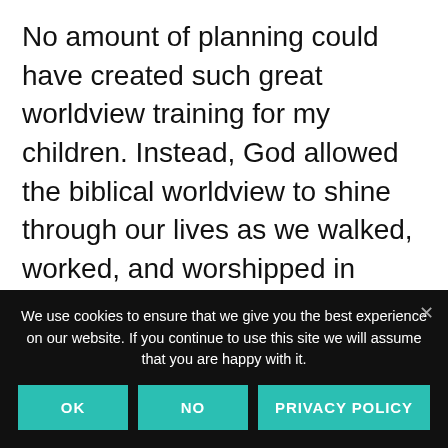No amount of planning could have created such great worldview training for my children. Instead, God allowed the biblical worldview to shine through our lives as we walked, worked, and worshipped in everyday moments. When I followed the voice of the Holy Spirit, He led John and I . . . and we in turn led our family.
God knew what our kids would need most
We use cookies to ensure that we give you the best experience on our website. If you continue to use this site we will assume that you are happy with it.